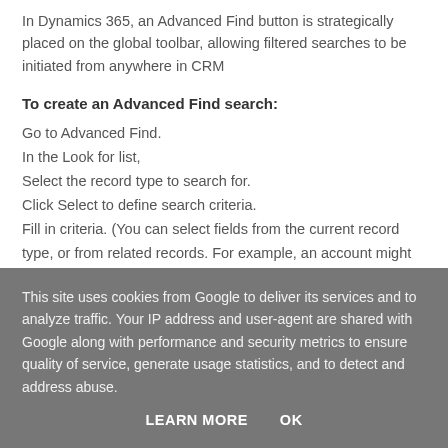In Dynamics 365, an Advanced Find button is strategically placed on the global toolbar, allowing filtered searches to be initiated from anywhere in CRM
To create an Advanced Find search:
Go to Advanced Find.
In the Look for list,
Select the record type to search for.
Click Select to define search criteria.
Fill in criteria. (You can select fields from the current record type, or from related records. For example, an account might
This site uses cookies from Google to deliver its services and to analyze traffic. Your IP address and user-agent are shared with Google along with performance and security metrics to ensure quality of service, generate usage statistics, and to detect and address abuse.
LEARN MORE    OK